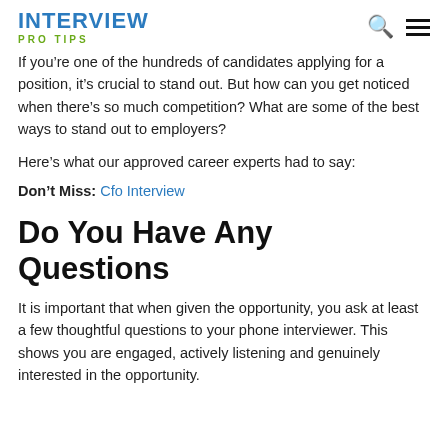INTERVIEW PRO TIPS
If you're one of the hundreds of candidates applying for a position, it's crucial to stand out. But how can you get noticed when there's so much competition? What are some of the best ways to stand out to employers?
Here's what our approved career experts had to say:
Don't Miss: Cfo Interview
Do You Have Any Questions
It is important that when given the opportunity, you ask at least a few thoughtful questions to your phone interviewer. This shows you are engaged, actively listening and genuinely interested in the opportunity.